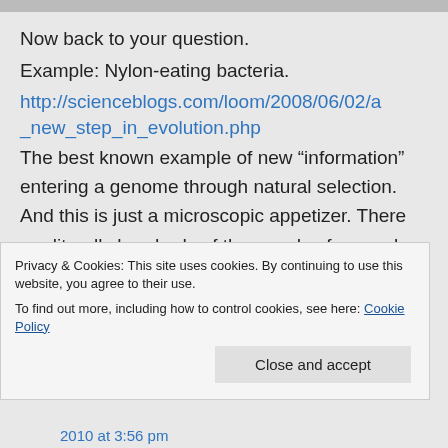[Figure (photo): Partial image strip at top of page, cropped thumbnails visible]
Now back to your question.
Example: Nylon-eating bacteria.
http://scienceblogs.com/loom/2008/06/02/a_new_step_in_evolution.php
The best known example of new “information” entering a genome through natural selection. And this is just a microscopic appetizer. There are literally hundreds of thousands of examples of new genes making their way into a genome.
Privacy & Cookies: This site uses cookies. By continuing to use this website, you agree to their use.
To find out more, including how to control cookies, see here: Cookie Policy
Close and accept
2010 at 3:56 pm